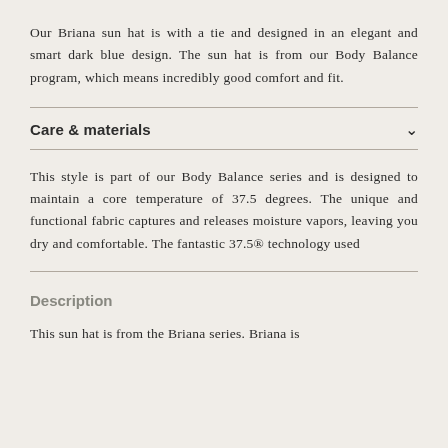Our Briana sun hat is with a tie and designed in an elegant and smart dark blue design. The sun hat is from our Body Balance program, which means incredibly good comfort and fit.
Care & materials
This style is part of our Body Balance series and is designed to maintain a core temperature of 37.5 degrees. The unique and functional fabric captures and releases moisture vapors, leaving you dry and comfortable. The fantastic 37.5® technology used
Description
This sun hat is from the Briana series. Briana is